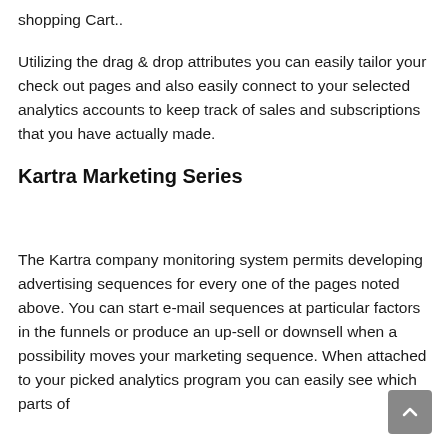shopping Cart..
Utilizing the drag & drop attributes you can easily tailor your check out pages and also easily connect to your selected analytics accounts to keep track of sales and subscriptions that you have actually made.
Kartra Marketing Series
The Kartra company monitoring system permits developing advertising sequences for every one of the pages noted above. You can start e-mail sequences at particular factors in the funnels or produce an up-sell or downsell when a possibility moves your marketing sequence. When attached to your picked analytics program you can easily see which parts of